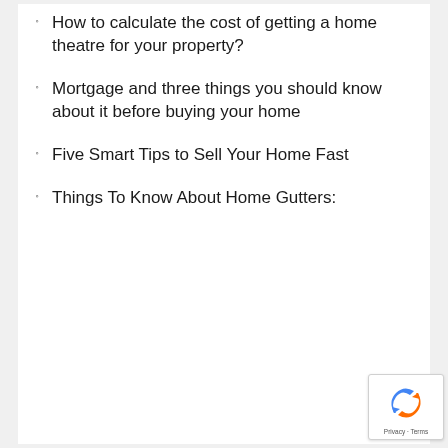How to calculate the cost of getting a home theatre for your property?
Mortgage and three things you should know about it before buying your home
Five Smart Tips to Sell Your Home Fast
Things To Know About Home Gutters: